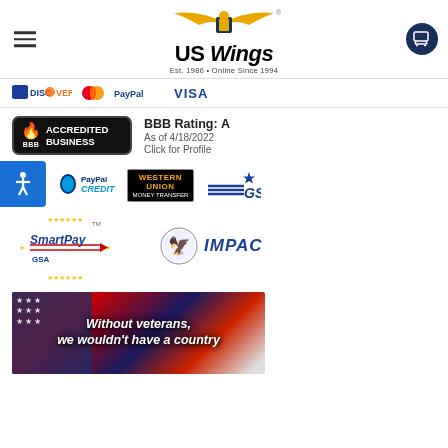US Wings — Est. 1986 • Online Since 1994
[Figure (logo): Payment methods bar showing Discover, PayPal, Visa logos]
[Figure (logo): BBB Accredited Business badge with BBB Rating: A, As of 4/18/2022, Click for Profile]
[Figure (logo): PayPal Credit logo]
[Figure (logo): Western Union Money Transfer logo]
[Figure (logo): GSA logo with star]
[Figure (logo): GSA SmartPay logo]
[Figure (logo): IMPAC logo with eagle seal]
[Figure (photo): American flag background with text: Without veterans, we wouldn't have a country]